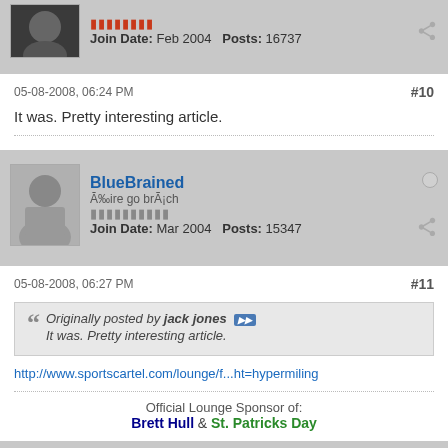Join Date: Feb 2004   Posts: 16737
05-08-2008, 06:24 PM   #10
It was. Pretty interesting article.
BlueBrained
Āƒ‰ire go brÃ¡ch
Join Date: Mar 2004   Posts: 15347
05-08-2008, 06:27 PM   #11
Originally posted by jack jones   It was. Pretty interesting article.
http://www.sportscartel.com/lounge/f...ht=hypermiling
Official Lounge Sponsor of: Brett Hull & St. Patricks Day